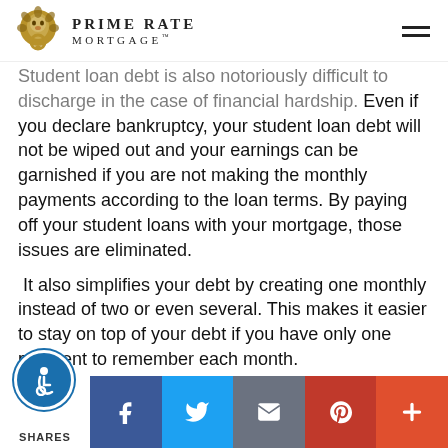PRIME RATE MORTGAGE™
Student loan debt is also notoriously difficult to discharge in the case of financial hardship. Even if you declare bankruptcy, your student loan debt will not be wiped out and your earnings can be garnished if you are not making the monthly payments according to the loan terms. By paying off your student loans with your mortgage, those issues are eliminated.
It also simplifies your debt by creating one monthly instead of two or even several. This makes it easier to stay on top of your debt if you have only one payment to remember each month.
Some Cautions
SHARES | Facebook | Twitter | Email | Pinterest | More